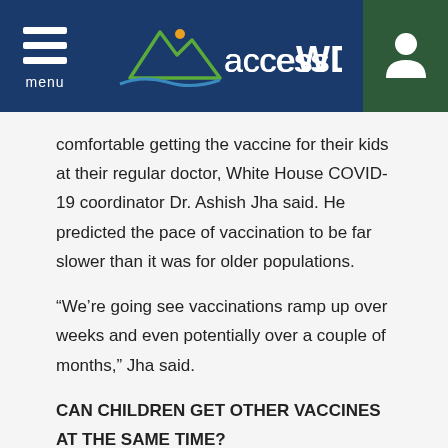[Figure (logo): accessWDUN logo with mountain/wave graphic on dark blue navigation header bar with hamburger menu and user icon]
comfortable getting the vaccine for their kids at their regular doctor, White House COVID-19 coordinator Dr. Ashish Jha said. He predicted the pace of vaccination to be far slower than it was for older populations.
“We’re going see vaccinations ramp up over weeks and even potentially over a couple of months,” Jha said.
CAN CHILDREN GET OTHER VACCINES AT THE SAME TIME?